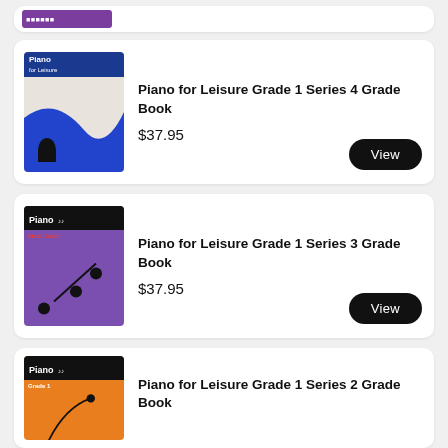[Figure (photo): Partial view of a product card at top of page, showing purple/maroon bar element]
[Figure (photo): Piano for Leisure Grade Book cover - blue and cream design with wave shape]
Piano for Leisure Grade 1 Series 4 Grade Book
$37.95
View
[Figure (photo): Piano for Leisure Grade Book cover - purple background with musical notes design, First Grade label]
Piano for Leisure Grade 1 Series 3 Grade Book
$37.95
View
[Figure (photo): Piano for Leisure Grade Book cover - orange background, Grade 1 label]
Piano for Leisure Grade 1 Series 2 Grade Book